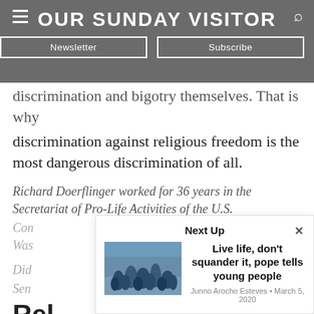OUR SUNDAY VISITOR
discrimination and bigotry themselves. That is why discrimination against religious freedom is the most dangerous discrimination of all.
Richard Doerflinger worked for 36 years in the Secretariat of Pro-Life Activities of the U.S. Con[ference of Catholic Bishops in] Was[hington.]
Did [you...] Sen[...] Rel[ated...]
[Figure (screenshot): Next Up popup overlay with article 'Live life, don't squander it, pope tells young people' by Junno Arocho Esteves, March 5, 2020, with a thumbnail image of people.]